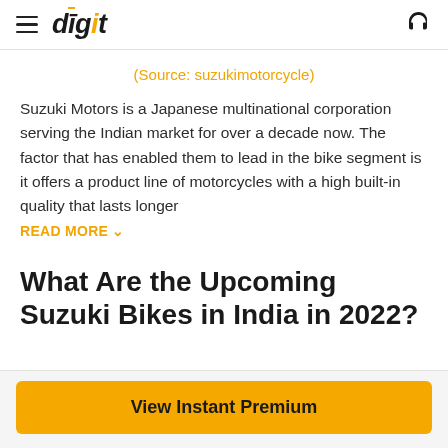digit
(Source: suzukimotorcycle)
Suzuki Motors is a Japanese multinational corporation serving the Indian market for over a decade now. The factor that has enabled them to lead in the bike segment is it offers a product line of motorcycles with a high built-in quality that lasts longer READ MORE ˅
What Are the Upcoming Suzuki Bikes in India in 2022?
View Instant Premium